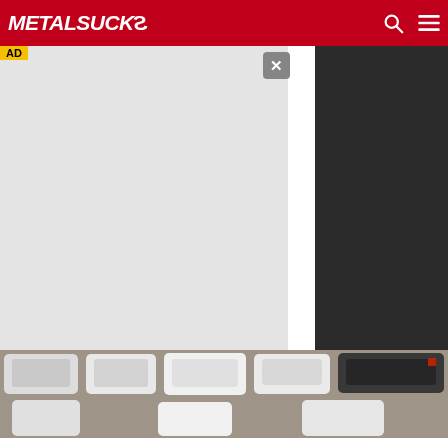MetalSucks
[Figure (screenshot): Gray advertisement placeholder area with close button X, overlapping dark panel on the right side]
[Figure (photo): Overhead aerial view of a car parking lot with several white and dark vehicles]
Ashburn: Unsold Never-Driven Cars Now Almost Being Given Away: See Prices
SUV Deals | Search Ads | Sponsored
[Figure (photo): Person holding teal/blue wallet or purse, partial view]
[Figure (screenshot): Local business ad: Ashburn OPEN 7:30AM-6PM, 43781 Parkhurst Plaza, Ashburn with navigation arrow icon]